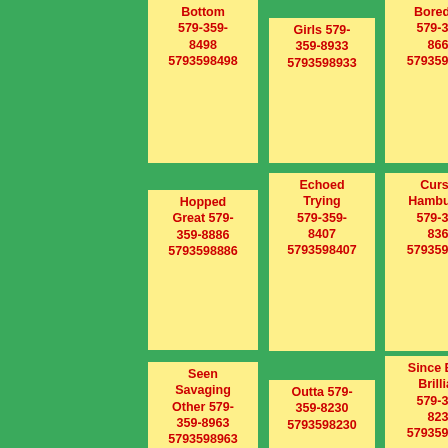Bottom 579-359-8498 5793598498
Girls 579-359-8933 5793598933
Boredom 579-359-8661 5793598661
Hopped Great 579-359-8886 5793598886
Echoed Trying 579-359-8407 5793598407
Curses Hamburger 579-359-8369 5793598369
Seen Savaging Other 579-359-8963 5793598963
Outta 579-359-8230 5793598230
Since Early Brilliant 579-359-8231 5793598231
Narrow Happy 579-359-8104
Empty Figuration Line 579-359-8128
Stamp 579-359-8923